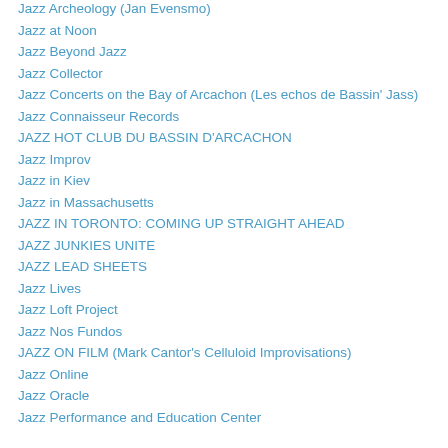Jazz Archeology (Jan Evensmo)
Jazz at Noon
Jazz Beyond Jazz
Jazz Collector
Jazz Concerts on the Bay of Arcachon (Les echos de Bassin' Jass)
Jazz Connaisseur Records
JAZZ HOT CLUB DU BASSIN D'ARCACHON
Jazz Improv
Jazz in Kiev
Jazz in Massachusetts
JAZZ IN TORONTO: COMING UP STRAIGHT AHEAD
JAZZ JUNKIES UNITE
JAZZ LEAD SHEETS
Jazz Lives
Jazz Loft Project
Jazz Nos Fundos
JAZZ ON FILM (Mark Cantor's Celluloid Improvisations)
Jazz Online
Jazz Oracle
Jazz Performance and Education Center